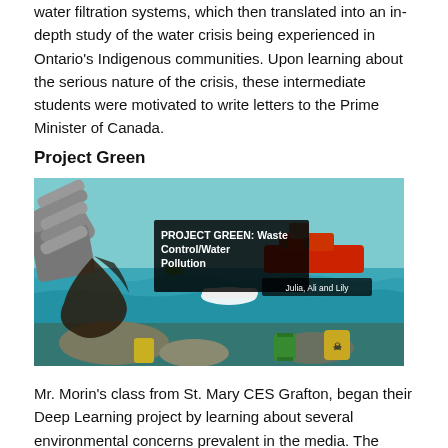water filtration systems, which then translated into an in-depth study of the water crisis being experienced in Ontario's Indigenous communities. Upon learning about the serious nature of the crisis, these intermediate students were motivated to write letters to the Prime Minister of Canada.
Project Green
[Figure (illustration): Illustration of water pollution showing industrial waste/oil spilling into the ocean, with a red ship in the background. A text overlay reads 'PROJECT GREEN: Waste Control/Water Pollution' and 'Julia, Ali and Lily'.]
Mr. Morin's class from St. Mary CES Grafton, began their Deep Learning project by learning about several environmental concerns prevalent in the media. The class broke into small groups, based on which environmental issue they wanted to explore in depth. Each